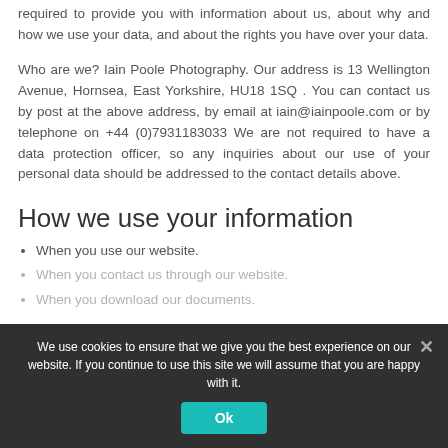required to provide you with information about us, about why and how we use your data, and about the rights you have over your data.
Who are we? Iain Poole Photography. Our address is 13 Wellington Avenue, Hornsea, East Yorkshire, HU18 1SQ . You can contact us by post at the above address, by email at iain@iainpoole.com or by telephone on +44 (0)7931183033 We are not required to have a data protection officer, so any inquiries about our use of your personal data should be addressed to the contact details above.
How we use your information
When you use our website.
When you contact us through our website.
When you download our documents.
We use cookies to ensure that we give you the best experience on our website. If you continue to use this site we will assume that you are happy with it.